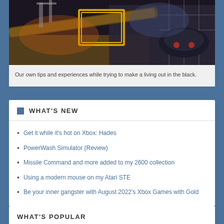[Figure (photo): A dark sci-fi game scene showing industrial/space environment with yellow-framed machinery, pipes, and a futuristic vehicle, lit with dramatic orange and blue lighting]
Our own tips and experiences while trying to make a living out in the black.
WHAT'S NEW
Get it while it's hot on Xbox: Hades
PowerWash Simulator (Review)
Missile Command and more added to my 2600 collection
Using a modern mouse on my Atari STE
Be your inner gangster with August 2022's Xbox Games with Gold
WHAT'S POPULAR